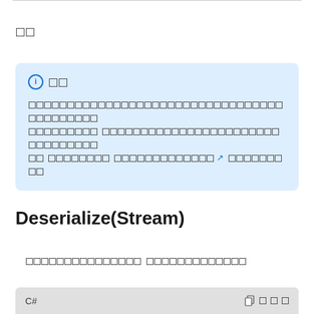□□
ℹ □□
[info box with placeholder text and a link]
Deserialize(Stream)
[placeholder description text]
C#  [copy button] □□□